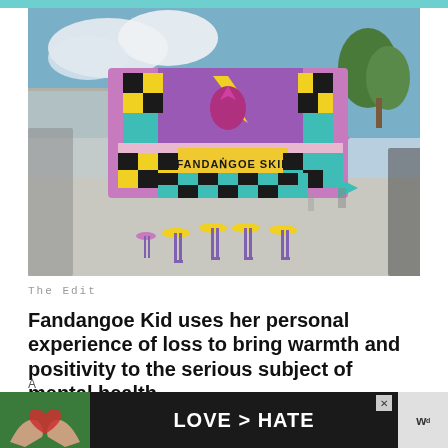[Figure (photo): Colorful pop-art style installation called 'Fandangoe Skip' in an outdoor public square. The structure is brightly colored with purple, teal, yellow, black and pink checkerboard patterns. Several yellow stools are placed in front. People are walking by in the background near modern buildings and trees.]
The Edit
Fandangoe Kid uses her personal experience of loss to bring warmth and positivity to the serious subject of mental health...
[Figure (photo): Advertisement banner showing hands making a heart shape against a green background with the text LOVE > HATE in bold white letters. An X close button is visible in the top right corner.]